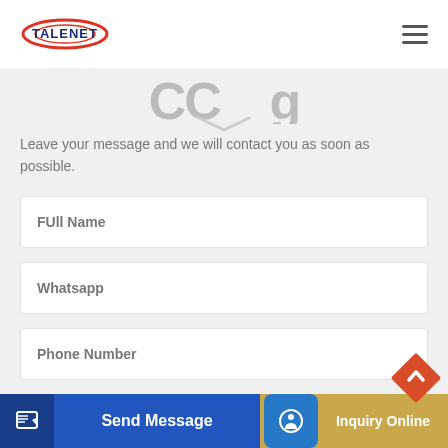[Figure (logo): Talenet logo with red oval and blue text]
Leave your message and we will contact you as soon as possible.
FUll Name
Whatsapp
Phone Number
Email Address
Send Message
Inquiry Online
Messages